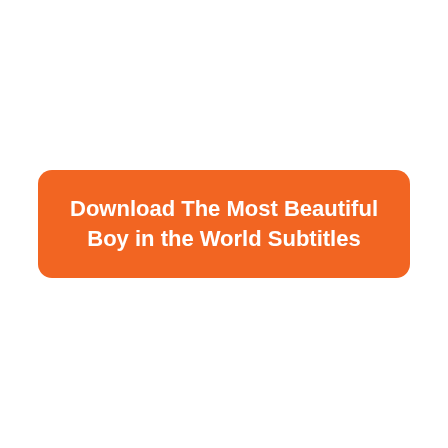[Figure (other): An orange rounded rectangle button with bold white text reading 'Download The Most Beautiful Boy in the World Subtitles']